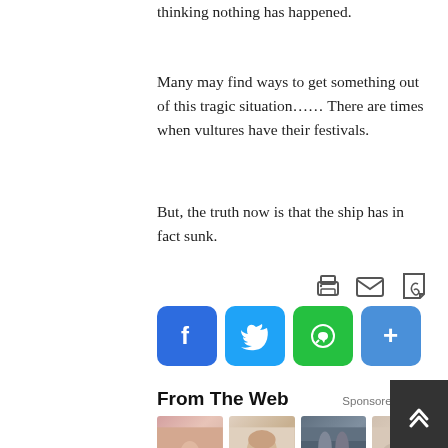thinking nothing has happened.
Many may find ways to get something out of this tragic situation…… There are times when vultures have their festivals.
But, the truth now is that the ship has in fact sunk.
[Figure (infographic): Social sharing icons: print, email, PDF, Facebook, Twitter, WhatsApp, share+]
From The Web
Sponsored Links
[Figure (photo): Four sponsored content cards: The Initial Red Fl..., What Fixes Migrai..., Ashburn Rehab Center..., Signs of Ulcerativ e Colit...]